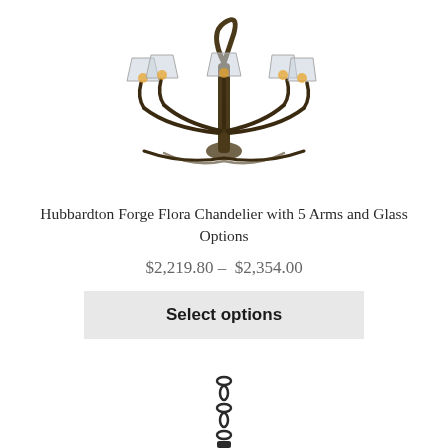[Figure (photo): Hubbardton Forge Flora Chandelier with 5 arms and glass shades, dark bronze finish with amber glass shades, shown from below on white background]
Hubbardton Forge Flora Chandelier with 5 Arms and Glass Options
$2,219.80 – $2,354.00
Select options
[Figure (photo): Partial view of a pendant light fixture with chain, dark finish, shown cropped at bottom of page]